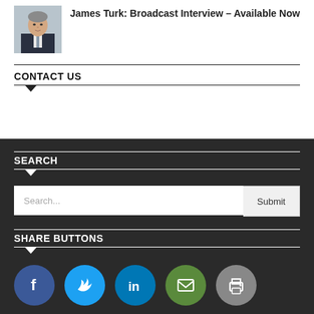[Figure (photo): Headshot photo of James Turk, a man in a suit]
James Turk: Broadcast Interview – Available Now
CONTACT US
SEARCH
[Figure (other): Search input field with placeholder 'Search...' and a Submit button]
SHARE BUTTONS
[Figure (infographic): Row of five social share icon buttons: Facebook (blue), Twitter (light blue), LinkedIn (dark blue), Email (green), Print (gray)]